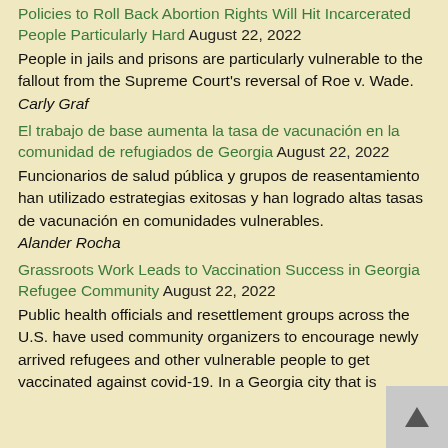Policies to Roll Back Abortion Rights Will Hit Incarcerated People Particularly Hard August 22, 2022
People in jails and prisons are particularly vulnerable to the fallout from the Supreme Court's reversal of Roe v. Wade.
Carly Graf
El trabajo de base aumenta la tasa de vacunación en la comunidad de refugiados de Georgia August 22, 2022
Funcionarios de salud pública y grupos de reasentamiento han utilizado estrategias exitosas y han logrado altas tasas de vacunación en comunidades vulnerables.
Alander Rocha
Grassroots Work Leads to Vaccination Success in Georgia Refugee Community August 22, 2022
Public health officials and resettlement groups across the U.S. have used community organizers to encourage newly arrived refugees and other vulnerable people to get vaccinated against covid-19. In a Georgia city that is